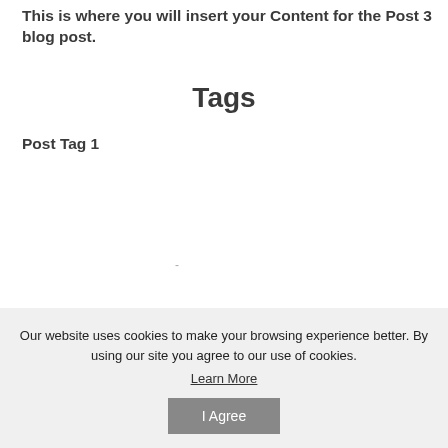This is where you will insert your Content for the Post 3 blog post.
Tags
Post Tag 1
Our website uses cookies to make your browsing experience better. By using our site you agree to our use of cookies.
Learn More
I Agree